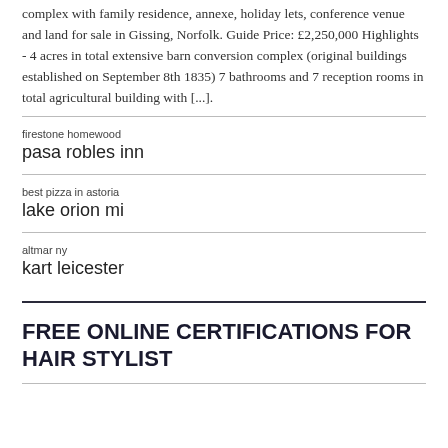complex with family residence, annexe, holiday lets, conference venue and land for sale in Gissing, Norfolk. Guide Price: £2,250,000 Highlights - 4 acres in total extensive barn conversion complex (original buildings established on September 8th 1835) 7 bathrooms and 7 reception rooms in total agricultural building with [...].
firestone homewood
pasa robles inn
best pizza in astoria
lake orion mi
altmar ny
kart leicester
FREE ONLINE CERTIFICATIONS FOR HAIR STYLIST